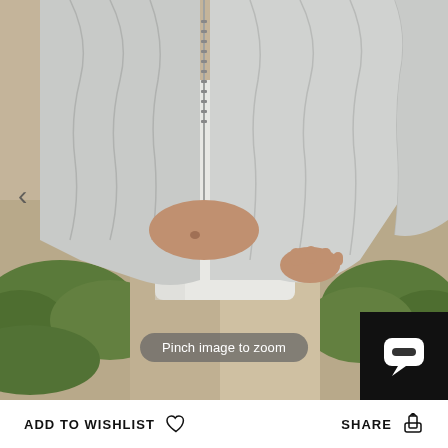[Figure (photo): Close-up fashion photo of a person wearing a light grey puffer jacket (cropped, unzipped at bottom) over a white long-sleeve shirt, with beige/khaki trousers. The person's midriff is visible. Green shrubs and sandy ground visible in the background. The person's hand is gripping the bottom hem of the jacket.]
Pinch image to zoom
ADD TO WISHLIST
SHARE